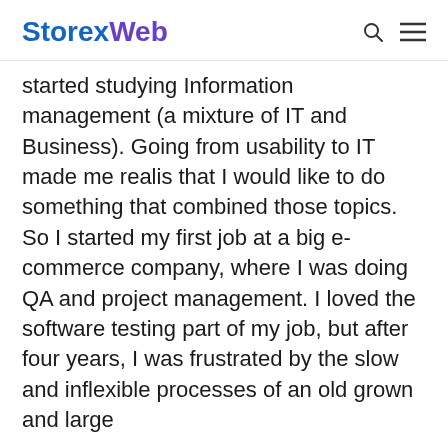StorexWeb
started studying Information management (a mixture of IT and Business). Going from usability to IT made me realis that I would like to do something that combined those topics. So I started my first job at a big e-commerce company, where I was doing QA and project management. I loved the software testing part of my job, but after four years, I was frustrated by the slow and inflexible processes of an old grown and large